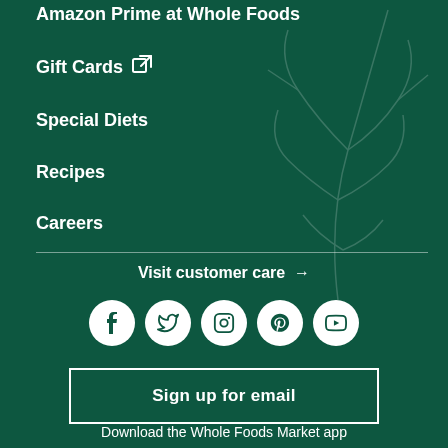Amazon Prime at Whole Foods
Gift Cards ↗
Special Diets
Recipes
Careers
Visit customer care →
[Figure (infographic): Row of 5 white social media icons on dark green circular backgrounds: Facebook, Twitter, Instagram, Pinterest, YouTube]
Sign up for email
Download the Whole Foods Market app